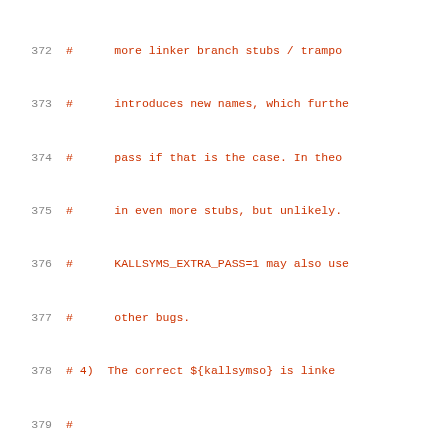[Figure (screenshot): Source code listing showing lines 372-392 of a shell/Makefile script related to kallsyms build steps, with line numbers on the left and syntax-highlighted code on the right.]